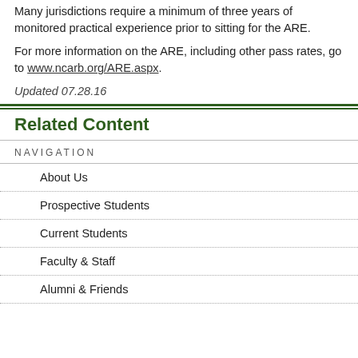Many jurisdictions require a minimum of three years of monitored practical experience prior to sitting for the ARE.
For more information on the ARE, including other pass rates, go to www.ncarb.org/ARE.aspx.
Updated 07.28.16
Related Content
NAVIGATION
About Us
Prospective Students
Current Students
Faculty & Staff
Alumni & Friends